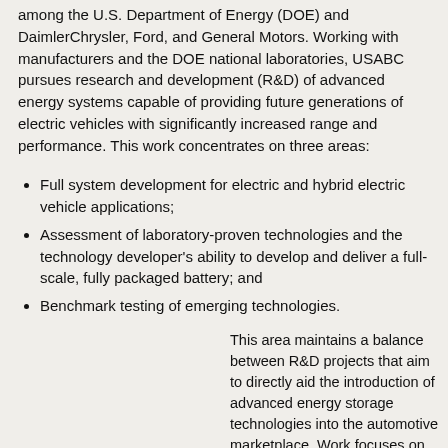among the U.S. Department of Energy (DOE) and DaimlerChrysler, Ford, and General Motors. Working with manufacturers and the DOE national laboratories, USABC pursues research and development (R&D) of advanced energy systems capable of providing future generations of electric vehicles with significantly increased range and performance. This work concentrates on three areas:
Full system development for electric and hybrid electric vehicle applications;
Assessment of laboratory-proven technologies and the technology developer's ability to develop and deliver a full-scale, fully packaged battery; and
Benchmark testing of emerging technologies.
This area maintains a balance between R&D projects that aim to directly aid the introduction of advanced energy storage technologies into the automotive marketplace. Work focuses on electrochemical energy storage systems, especially rechargeable batteries. Researchers maintain a